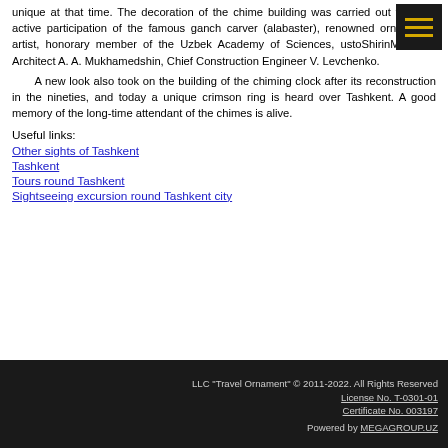unique at that time. The decoration of the chime building was carried out with the active participation of the famous ganch carver (alabaster), renowned ornamental artist, honorary member of the Uzbek Academy of Sciences, ustoShirinMuradov. Architect A. A. Mukhamedshin, Chief Construction Engineer V. Levchenko.

A new look also took on the building of the chiming clock after its reconstruction in the nineties, and today a unique crimson ring is heard over Tashkent. A good memory of the long-time attendant of the chimes is alive.
Useful links:
Other sights of Tashkent
Tashkent
Tours round Tashkent
Sightseeing excursion round Tashkent city
LLC "Travel Ornament" © 2011-2022. All Rights Reserved
License No. T-0301-01
Certificate No. 003197
Powered by MEGAGROUP.UZ